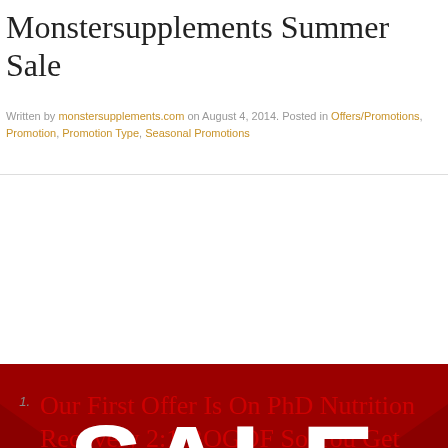Monstersupplements Summer Sale
Written by monstersupplements.com on August 4, 2014. Posted in Offers/Promotions, Promotion, Promotion Type, Seasonal Promotions
[Figure (illustration): Red sale banner with large white 'SALE' text and sunburst rays in the background]
Our First Offer Is On PhD Nutrition Recovery 2:1 BOGOF So You Get Two Bags At The Price Of £25.99